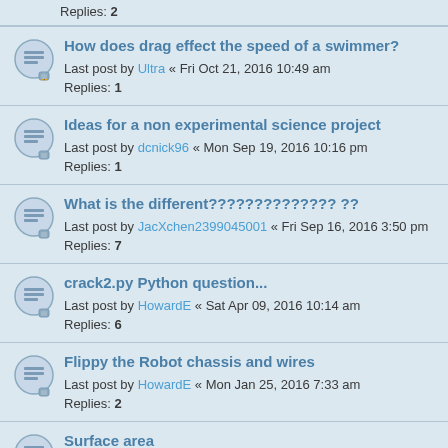Replies: 2
How does drag effect the speed of a swimmer?
Last post by Ultra « Fri Oct 21, 2016 10:49 am
Replies: 1
Ideas for a non experimental science project
Last post by dcnick96 « Mon Sep 19, 2016 10:16 pm
Replies: 1
What is the different?????????????? ??
Last post by JacXchen2399045001 « Fri Sep 16, 2016 3:50 pm
Replies: 7
crack2.py Python question...
Last post by HowardE « Sat Apr 09, 2016 10:14 am
Replies: 6
Flippy the Robot chassis and wires
Last post by HowardE « Mon Jan 25, 2016 7:33 am
Replies: 2
Surface area